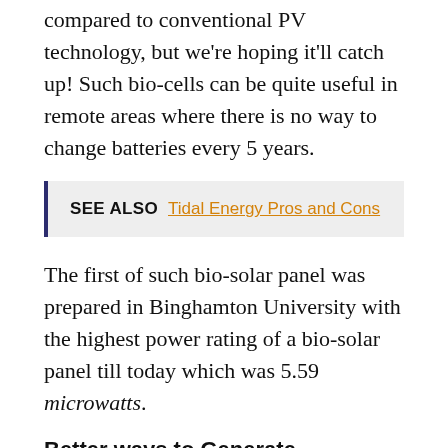compared to conventional PV technology, but we're hoping it'll catch up! Such bio-cells can be quite useful in remote areas where there is no way to change batteries every 5 years.
SEE ALSO  Tidal Energy Pros and Cons
The first of such bio-solar panel was prepared in Binghamton University with the highest power rating of a bio-solar panel till today which was 5.59 microwatts.
Better ways to Generate Electricity
Some researchers worked to find if there's a more